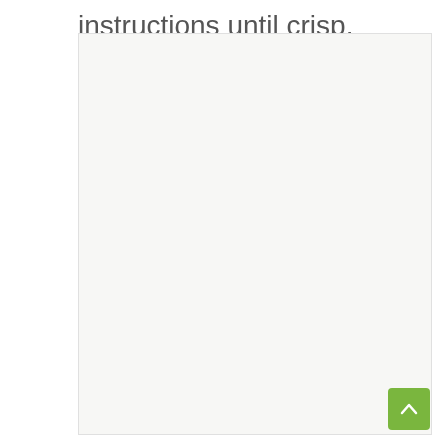instructions until crisp.
[Figure (other): A large light gray/off-white rectangular image placeholder area]
[Figure (other): A green rounded square button with an upward-pointing chevron/caret arrow icon for scrolling to top]